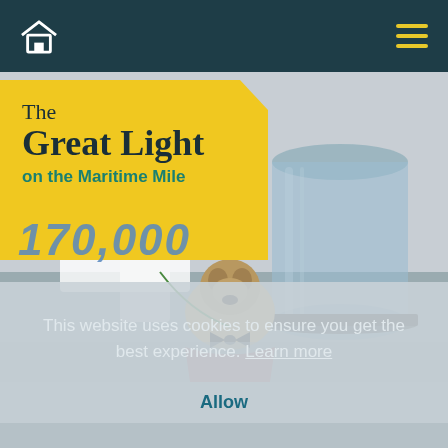Home navigation and hamburger menu
[Figure (photo): A person holding a sign showing '170,000' standing next to a pug dog wearing a bow tie and bandana, in front of a cylindrical glass tower structure near a waterfront on a grey overcast day]
The Great Light on the Maritime Mile
This website uses cookies to ensure you get the best experience. Learn more
Allow